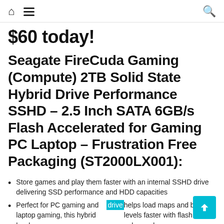Home | Menu | Search
$60 today!
Seagate FireCuda Gaming (Compute) 2TB Solid State Hybrid Drive Performance SSHD – 2.5 Inch SATA 6GB/s Flash Accelerated for Gaming PC Laptop – Frustration Free Packaging (ST2000LX001):
Store games and play them faster with an internal SSHD drive delivering SSD performance and HDD capacities
Perfect for PC gaming and laptop gaming, this hybrid hard drive helps load maps and boot levels faster with flash enhanced